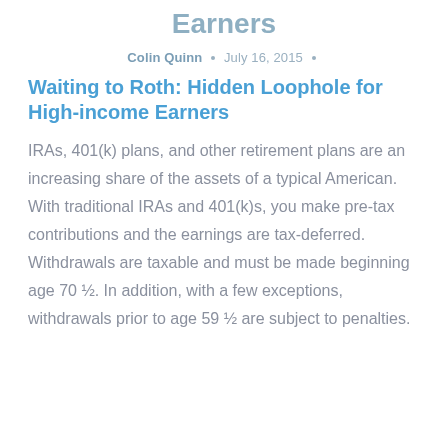Earners
Colin Quinn · July 16, 2015 ·
Waiting to Roth: Hidden Loophole for High-income Earners
IRAs, 401(k) plans, and other retirement plans are an increasing share of the assets of a typical American. With traditional IRAs and 401(k)s, you make pre-tax contributions and the earnings are tax-deferred. Withdrawals are taxable and must be made beginning age 70 ½. In addition, with a few exceptions, withdrawals prior to age 59 ½ are subject to penalties.